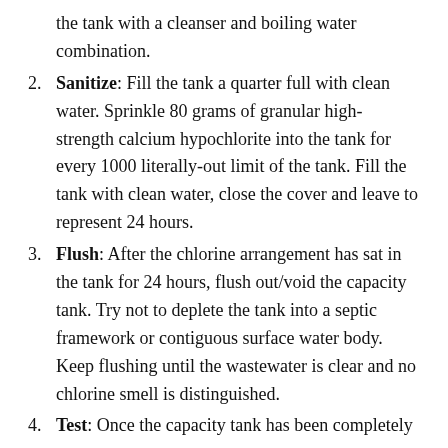the tank with a cleanser and boiling water combination.
Sanitize: Fill the tank a quarter full with clean water. Sprinkle 80 grams of granular high-strength calcium hypochlorite into the tank for every 1000 literally-out limit of the tank. Fill the tank with clean water, close the cover and leave to represent 24 hours.
Flush: After the chlorine arrangement has sat in the tank for 24 hours, flush out/void the capacity tank. Try not to deplete the tank into a septic framework or contiguous surface water body. Keep flushing until the wastewater is clear and no chlorine smell is distinguished.
Test: Once the capacity tank has been completely